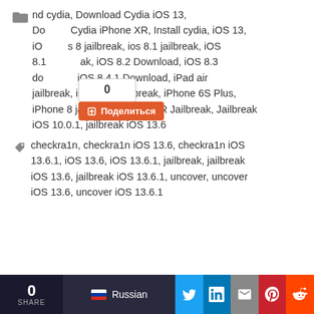nd cydia, Download Cydia iOS 13, Download Cydia iPhone XR, Install cydia, iOS 13, iOS ios 8 jailbreak, ios 8.1 jailbreak, iOS 8.1 ak, iOS 8.2 Download, iOS 8.3 do iOS 8.4.1 Download, iPad air jailbreak, iPad mini jailbreak, iPhone 6S Plus, iPhone 8 jailbreak, iPhone XR Jailbreak, Jailbreak iOS 10.0.1, jailbreak iOS 13.6
checkra1n, checkra1n iOS 13.6, checkra1n iOS 13.6.1, iOS 13.6, iOS 13.6.1, jailbreak, jailbreak iOS 13.6, jailbreak iOS 13.6.1, uncover, uncover iOS 13.6, uncover iOS 13.6.1
0 SHARE | Russian | (Twitter) | (LinkedIn) | (Email) | (Pinterest) | (Reddit)